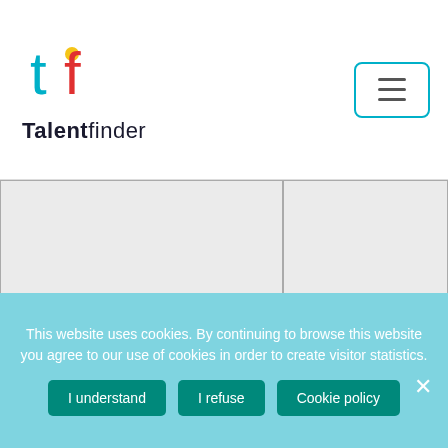[Figure (logo): Talentfinder logo with colorful icon and menu hamburger button]
|  |  |
| cookie_notice_accepted | www.talentfinder.b... |
This website uses cookies. By continuing to browse this website you agree to our use of cookies in order to create visitor statistics.
I understand | I refuse | Cookie policy